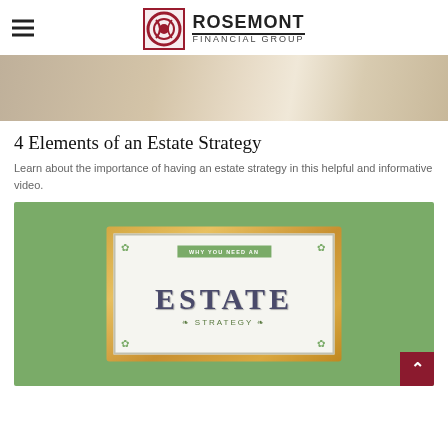Rosemont Financial Group
[Figure (photo): Hero image showing hands writing on a document, partially cropped at top]
4 Elements of an Estate Strategy
Learn about the importance of having an estate strategy in this helpful and informative video.
[Figure (illustration): Green background with a gold-framed artwork showing 'WHY YOU NEED AN ESTATE STRATEGY' text in decorative style. A dark red scroll-to-top button with up arrow is in the bottom right corner.]